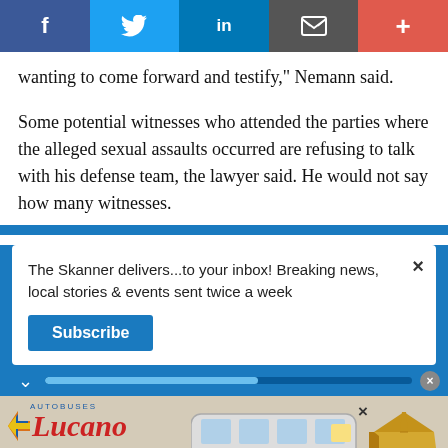[Figure (screenshot): Social media sharing bar with Facebook, Twitter, LinkedIn, email, and plus buttons]
wanting to come forward and testify,” Nemann said.
Some potential witnesses who attended the parties where the alleged sexual assaults occurred are refusing to talk with his defense team, the lawyer said. He would not say how many witnesses.
The Skanner delivers...to your inbox! Breaking news, local stories & events sent twice a week
[Figure (screenshot): Autobuses Lucano advertisement with bus image, boxes, and phone number 832-798-9608]